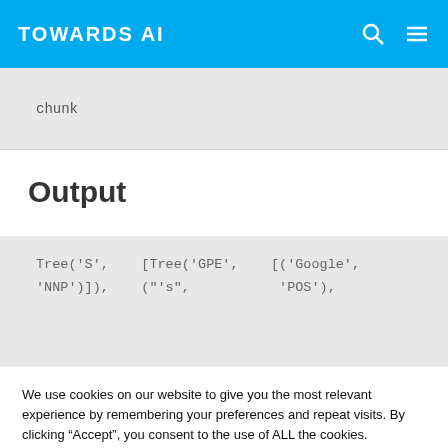TOWARDS AI
chunk
Output
Tree('S',    [Tree('GPE',    [('Google',
'NNP')]),    ("'s",    'POS'),
We use cookies on our website to give you the most relevant experience by remembering your preferences and repeat visits. By clicking “Accept”, you consent to the use of ALL the cookies.